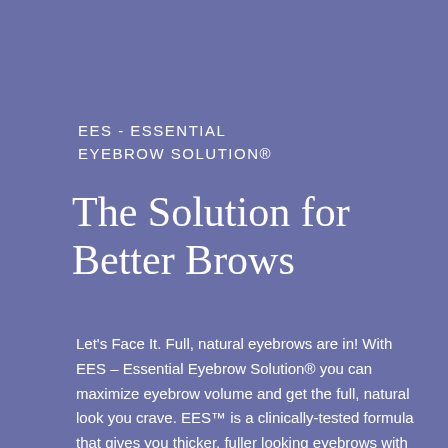EES - ESSENTIAL EYEBROW SOLUTION®
The Solution for Better Brows
Let's Face It. Full, natural eyebrows are in! With EES – Essential Eyebrow Solution® you can maximize eyebrow volume and get the full, natural look you crave. EES™ is a clinically-tested formula that gives you thicker, fuller looking eyebrows with every use. No cosmetics, no painful tattoos, no transplants. It's the